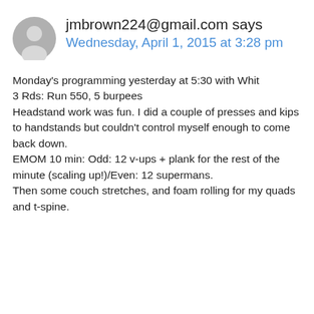jmbrown224@gmail.com says
Wednesday, April 1, 2015 at 3:28 pm
Monday's programming yesterday at 5:30 with Whit
3 Rds: Run 550, 5 burpees
Headstand work was fun. I did a couple of presses and kips to handstands but couldn't control myself enough to come back down.
EMOM 10 min: Odd: 12 v-ups + plank for the rest of the minute (scaling up!)/Even: 12 supermans.
Then some couch stretches, and foam rolling for my quads and t-spine.